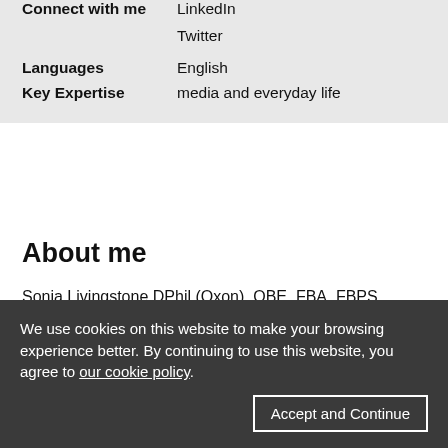| Connect with me | LinkedIn |
|  | Twitter |
| Languages | English |
| Key Expertise | media and everyday life |
About me
Sonia Livingstone DPhil (Oxon), OBE, FBA, FBPS, FAcSS, FRSA, is a professor in the Department of Media and Communications at the London School of Economics and Political Science. Taking a comparative, critical and
We use cookies on this website to make your browsing experience better. By continuing to use this website, you agree to our cookie policy.
Accept and Continue